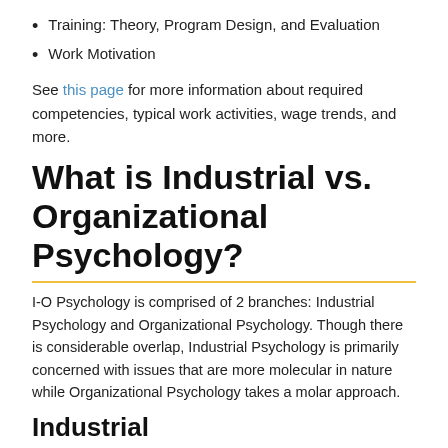Training: Theory, Program Design, and Evaluation
Work Motivation
See this page for more information about required competencies, typical work activities, wage trends, and more.
What is Industrial vs. Organizational Psychology?
I-O Psychology is comprised of 2 branches: Industrial Psychology and Organizational Psychology. Though there is considerable overlap, Industrial Psychology is primarily concerned with issues that are more molecular in nature while Organizational Psychology takes a molar approach.
Industrial
Recruitment
Selection